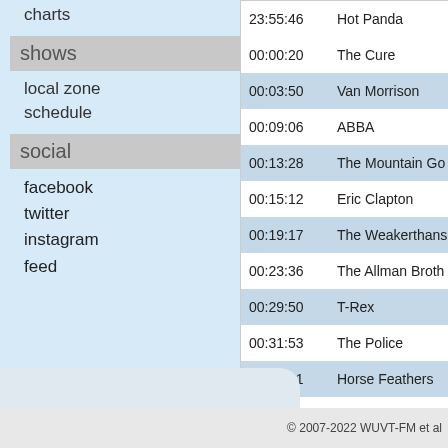charts
shows
local zone
schedule
social
facebook
twitter
instagram
feed
| Time | Artist |
| --- | --- |
| 23:55:46 | Hot Panda |
| 00:00:20 | The Cure |
| 00:03:50 | Van Morrison |
| 00:09:06 | ABBA |
| 00:13:28 | The Mountain Go... |
| 00:15:12 | Eric Clapton |
| 00:19:17 | The Weakerthans |
| 00:23:36 | The Allman Broth... |
| 00:29:50 | T-Rex |
| 00:31:53 | The Police |
| 00:36:41 | Horse Feathers |
| 00:41:16 | Blue Oyster Cult |
| 00:46:10 | Hot Hot Heat |
| 00:51:46 | 🔥 Mogwai |
| 00:58:16 | Heart |
© 2007-2022 WUVT-FM et al